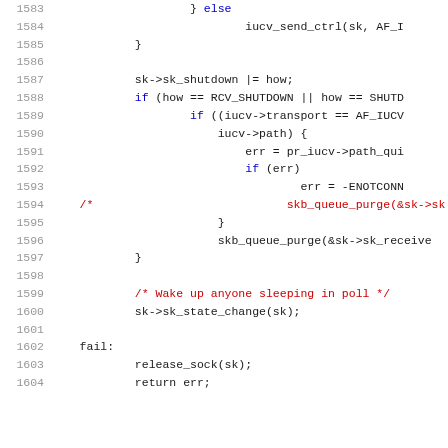[Figure (screenshot): Source code listing showing lines 1583-1604 of a C kernel networking function with syntax highlighting. Line numbers in gray on left, code in black, red, blue, and orange colors indicating syntax elements.]